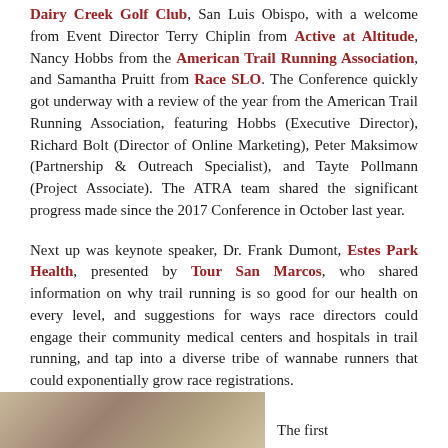Dairy Creek Golf Club, San Luis Obispo, with a welcome from Event Director Terry Chiplin from Active at Altitude, Nancy Hobbs from the American Trail Running Association, and Samantha Pruitt from Race SLO. The Conference quickly got underway with a review of the year from the American Trail Running Association, featuring Hobbs (Executive Director), Richard Bolt (Director of Online Marketing), Peter Maksimow (Partnership & Outreach Specialist), and Tayte Pollmann (Project Associate). The ATRA team shared the significant progress made since the 2017 Conference in October last year.
Next up was keynote speaker, Dr. Frank Dumont, Estes Park Health, presented by Tour San Marcos, who shared information on why trail running is so good for our health on every level, and suggestions for ways race directors could engage their community medical centers and hospitals in trail running, and tap into a diverse tribe of wannabe runners that could exponentially grow race registrations.
[Figure (photo): Partial photo visible at bottom of page showing what appears to be an indoor gathering or conference setting]
The first